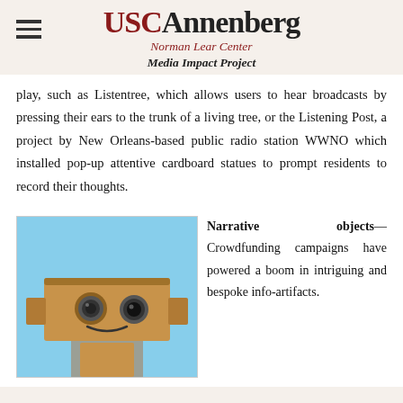USC Annenberg Norman Lear Center Media Impact Project
play, such as Listentree, which allows users to hear broadcasts by pressing their ears to the trunk of a living tree, or the Listening Post, a project by New Orleans-based public radio station WWNO which installed pop-up attentive cardboard statues to prompt residents to record their thoughts.
[Figure (photo): A cardboard box robot face with two camera lens eyes and a drawn smile against a light blue sky background — representing the Listening Post cardboard statues.]
Narrative objects— Crowdfunding campaigns have powered a boom in intriguing and bespoke info-artifacts.